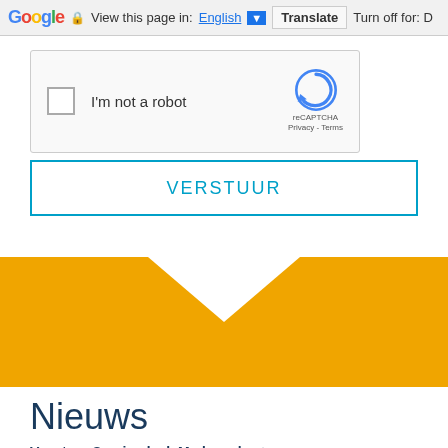Google  View this page in: English ▼  Translate  Turn off for: D
[Figure (screenshot): reCAPTCHA widget with checkbox labeled 'I'm not a robot' and reCAPTCHA logo with Privacy - Terms links]
VERSTUUR
[Figure (illustration): Orange chevron/V-shape decorative banner]
Nieuws
Vacature Servicedesk Medewerker